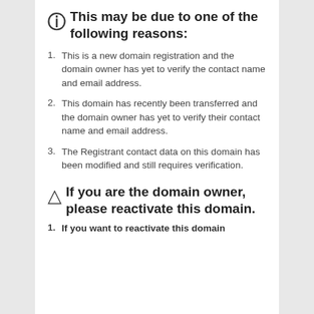This may be due to one of the following reasons:
This is a new domain registration and the domain owner has yet to verify the contact name and email address.
This domain has recently been transferred and the domain owner has yet to verify their contact name and email address.
The Registrant contact data on this domain has been modified and still requires verification.
If you are the domain owner, please reactivate this domain.
If you want to reactivate this domain